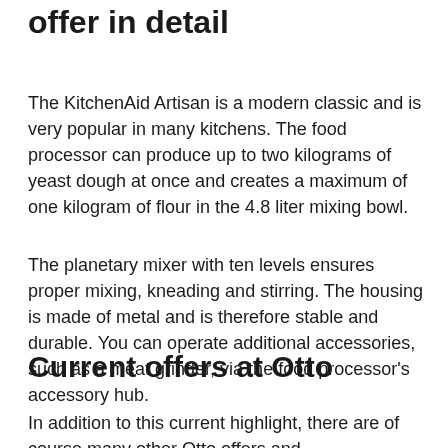offer in detail
The KitchenAid Artisan is a modern classic and is very popular in many kitchens. The food processor can produce up to two kilograms of yeast dough at once and creates a maximum of one kilogram of flour in the 4.8 liter mixing bowl.
The planetary mixer with ten levels ensures proper mixing, kneading and stirring. The housing is made of metal and is therefore stable and durable. You can operate additional accessories, such as a meat grinder, via the food processor's accessory hub.
Current offers at Otto
In addition to this current highlight, there are of course many other Otto offers and...